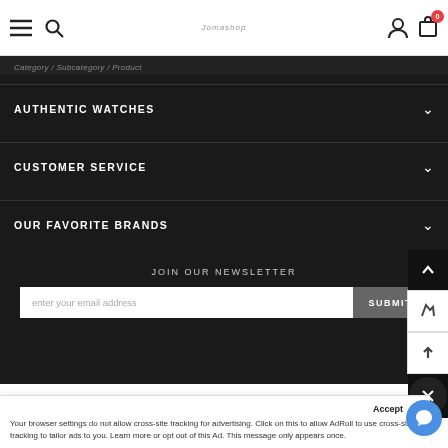Navigation header with hamburger menu, search icon, logo, user icon, and cart (0 items)
Category / Subcategory / Product
AUTHENTIC WATCHES
CUSTOMER SERVICE
OUR FAVORITE BRANDS
JOIN OUR NEWSLETTER
enter your email address
SUBMIT
Join Our Family.
Accept
Your browser settings do not allow cross-site tracking for advertising. Click on this to allow AdRoll to use cross-site tracking to tailor ads to you. Learn more or opt out of this Ad. This message only appears once.